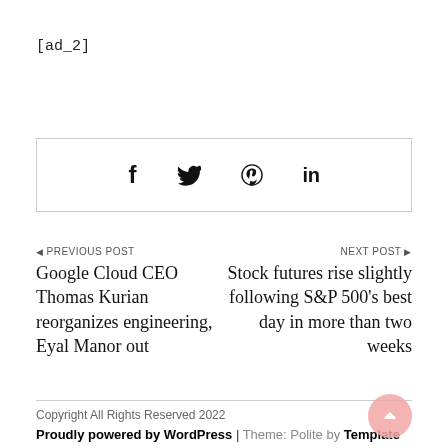[ad_2]
[Figure (other): Social sharing bar with Facebook, Twitter, Pinterest, and LinkedIn icons inside a bordered rectangle]
◀ PREVIOUS POST
Google Cloud CEO Thomas Kurian reorganizes engineering, Eyal Manor out
NEXT POST ▶
Stock futures rise slightly following S&P 500's best day in more than two weeks
Copyright All Rights Reserved 2022
Proudly powered by WordPress | Theme: Polite by Template Sell.